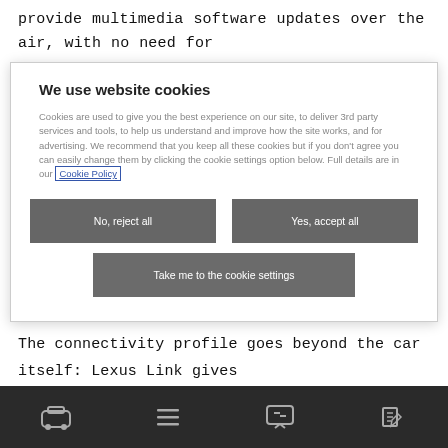provide multimedia software updates over the air, with no need for
We use website cookies
Cookies are used to give you the best experience on our site, to deliver 3rd party services and tools, to help us understand and improve how the site works, and for advertising. We recommend that you keep all these cookies but if you don't agree you can easily change them by clicking the cookie settings option below. Full details are in our Cookie Policy
No, reject all
Yes, accept all
Take me to the cookie settings
The connectivity profile goes beyond the car itself: Lexus Link gives remote access to the vehicle using a smartphone app. Setting the climate control, locking and unlocking doors and triggering the hazard
[Figure (infographic): Website footer navigation bar with four icons: car icon, list/menu icon, chat bubble icon, and edit/pen icon on dark background]